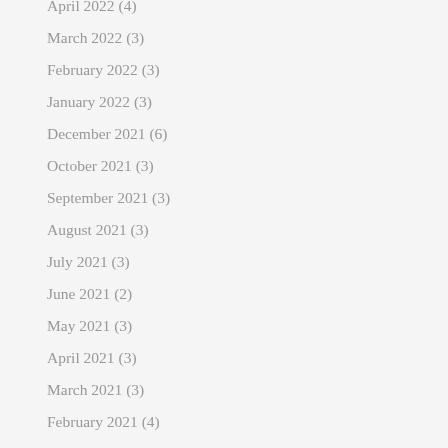April 2022 (4)
March 2022 (3)
February 2022 (3)
January 2022 (3)
December 2021 (6)
October 2021 (3)
September 2021 (3)
August 2021 (3)
July 2021 (3)
June 2021 (2)
May 2021 (3)
April 2021 (3)
March 2021 (3)
February 2021 (4)
January 2021 (3)